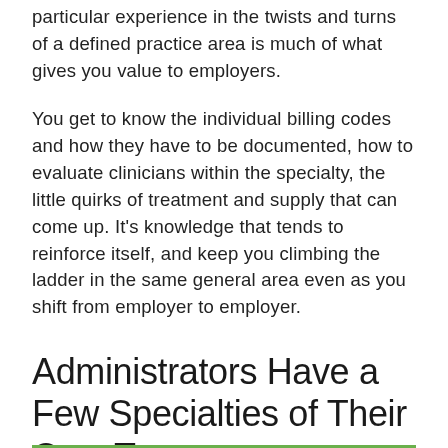particular experience in the twists and turns of a defined practice area is much of what gives you value to employers.
You get to know the individual billing codes and how they have to be documented, how to evaluate clinicians within the specialty, the little quirks of treatment and supply that can come up. It’s knowledge that tends to reinforce itself, and keep you climbing the ladder in the same general area even as you shift from employer to employer.
Administrators Have a Few Specialties of Their Own Too